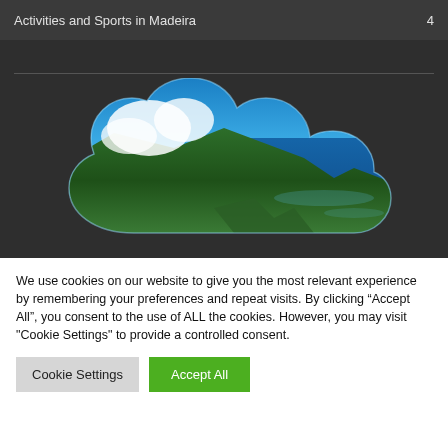Activities and Sports in Madeira   4
[Figure (photo): Cloud-shaped cutout photo of Madeira island landscape showing green mountains, blue sky with white clouds, and ocean coastline]
We use cookies on our website to give you the most relevant experience by remembering your preferences and repeat visits. By clicking “Accept All”, you consent to the use of ALL the cookies. However, you may visit "Cookie Settings" to provide a controlled consent.
Cookie Settings   Accept All